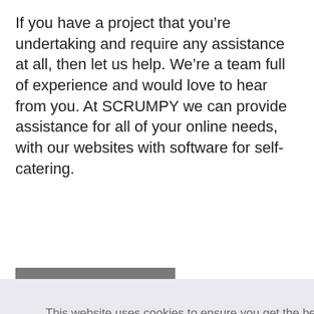If you have a project that you’re undertaking and require any assistance at all, then let us help. We’re a team full of experience and would love to hear from you. At SCRUMPY we can provide assistance for all of your online needs, with our websites with software for self-catering.
[Figure (screenshot): A grey 'Get in touch' button partially visible, overlaid by a cookie consent banner. The banner has text: 'This website uses cookies to ensure you get the best experience on our website.' with a 'Learn more' link and a dark navy 'Got it!' button bar at the bottom.]